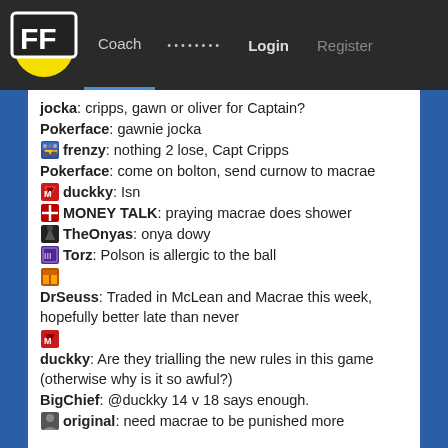FF Coach • • • • • • • • Login Register
jocka: cripps, gawn or oliver for Captain?
Pokerface: gawnie jocka
frenzy: nothing 2 lose, Capt Cripps
Pokerface: come on bolton, send curnow to macrae
duckky: Isn
MONEY TALK: praying macrae does shower
TheOnyas: onya dowy
Torz: Polson is allergic to the ball
DrSeuss: Traded in McLean and Macrae this week, hopefully better late than never
duckky: Are they trialling the new rules in this game (otherwise why is it so awful?)
BigChief: @duckky 14 v 18 says enough.
original: need macrae to be punished more